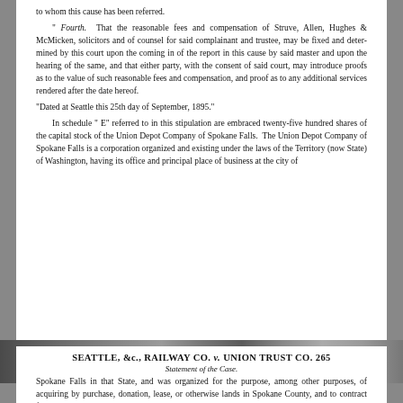to whom this cause has been referred. " Fourth. That the reasonable fees and compensation of Struve, Allen, Hughes & McMicken, solicitors and of counsel for said complainant and trustee, may be fixed and determined by this court upon the coming in of the report in this cause by said master and upon the hearing of the same, and that either party, with the consent of said court, may introduce proofs as to the value of such reasonable fees and compensation, and proof as to any additional services rendered after the date hereof. "Dated at Seattle this 25th day of September, 1895." In schedule " E" referred to in this stipulation are embraced twenty-five hundred shares of the capital stock of the Union Depot Company of Spokane Falls. The Union Depot Company of Spokane Falls is a corporation organized and existing under the laws of the Territory (now State) of Washington, having its office and principal place of business at the city of
[Figure (photo): Horizontal photographic strip showing a landscape or industrial scene, appearing as a dark band across the page]
SEATTLE, &c., RAILWAY CO. v. UNION TRUST CO. 265
Statement of the Case.
Spokane Falls in that State, and was organized for the purpose, among other purposes, of acquiring by purchase, donation, lease, or otherwise lands in Spokane County, and to contract for